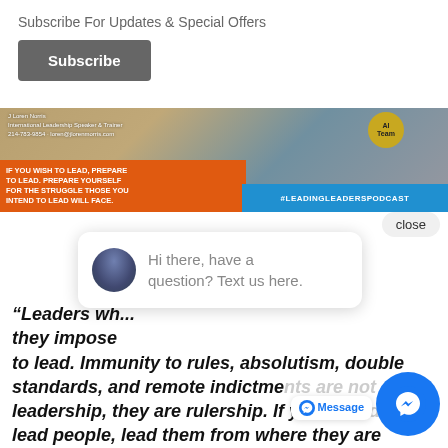Subscribe For Updates & Special Offers
Subscribe
[Figure (photo): Leadership speaker J Loren Norris banner with quote: IF YOU WISH TO LEAD, PREPARE TO LEAD. PREPARE YOURSELF FOR THE STRUGGLE THOSE YOU INTEND TO LEAD WILL FACE. #LEADINGLEADERSPODCAST]
close
Hi there, have a question? Text us here.
“Leaders wh... they impose... to lead. Immunity to rules, absolutism, double standards, and remote indictme... leadership, they are rulership. If you inten... lead people, lead them from where they are